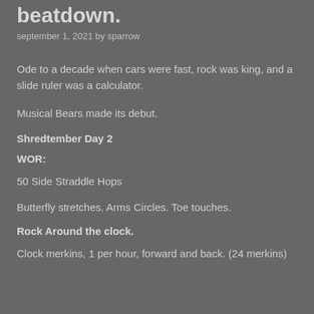beatdown.
september 1, 2021 by sparrow
Ode to a decade when cars were fast, rock was king, and a slide ruler was a calculator.
Musical Bears made its debut.
Shredtember Day 2
WOR:
50 Side Straddle Hops
Butterfly stretches. Arms Circles. Toe touches.
Rock Around the clock.
Clock merkins, 1 per hour, forward and back. (24 merkins)